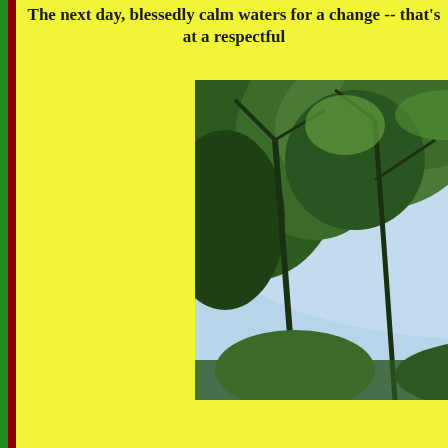The next day, blessedly calm waters for a change -- that's at a respectful
[Figure (photo): Photograph taken looking up through tree canopy showing green leafy branches against a pale blue sky]